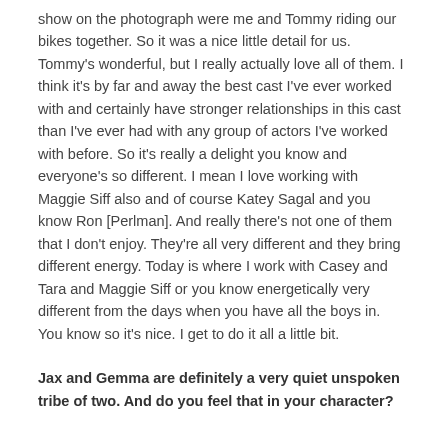show on the photograph were me and Tommy riding our bikes together. So it was a nice little detail for us.
Tommy's wonderful, but I really actually love all of them. I think it's by far and away the best cast I've ever worked with and certainly have stronger relationships in this cast than I've ever had with any group of actors I've worked with before. So it's really a delight you know and everyone's so different. I mean I love working with Maggie Siff also and of course Katey Sagal and you know Ron [Perlman]. And really there's not one of them that I don't enjoy. They're all very different and they bring different energy. Today is where I work with Casey and Tara and Maggie Siff or you know energetically very different from the days when you have all the boys in. You know so it's nice. I get to do it all a little bit.
Jax and Gemma are definitely a very quiet unspoken tribe of two. And do you feel that in your character?